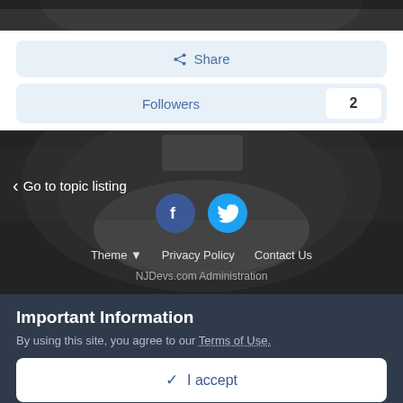[Figure (photo): Top portion of a hockey arena photo, dark grayscale]
Share
Followers  2
[Figure (photo): Grayscale aerial photo of a hockey arena/rink with crowds, overlaid with social media icons (Facebook, Twitter), navigation links (Go to topic listing), footer links (Theme, Privacy Policy, Contact Us), and NJDevs.com Administration text]
Important Information
By using this site, you agree to our Terms of Use.
✓  I accept